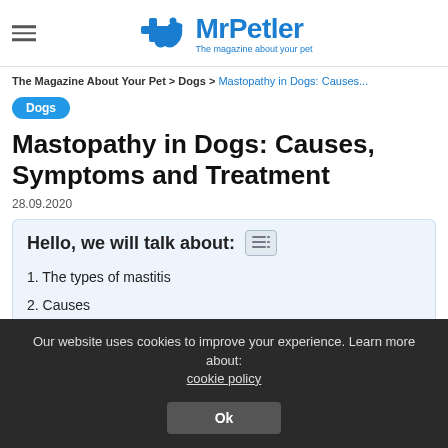MrPetler — The magazine about your pet
The Magazine About Your Pet > Dogs > Mastopathy in Dogs: Causes...
Dogs
Mastopathy in Dogs: Causes, Symptoms and Treatment
28.09.2020
Hello, we will talk about:
1. The types of mastitis
2. Causes
3. The clinical picture
Our website uses cookies to improve your experience. Learn more about: cookie policy Ok